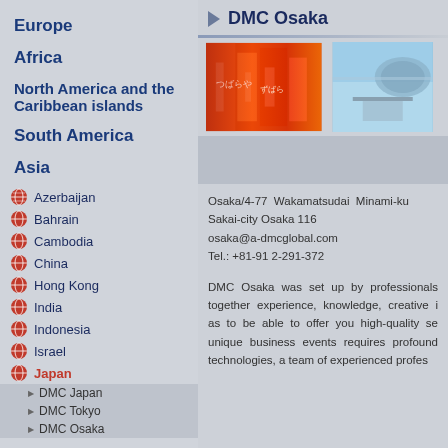Europe
Africa
North America and the Caribbean islands
South America
Asia
Azerbaijan
Bahrain
Cambodia
China
Hong Kong
India
Indonesia
Israel
Japan
DMC Japan
DMC Tokyo
DMC Osaka
DMC Osaka
[Figure (photo): Two photos of Osaka: colorful shopping street signs on the left and a stadium/arena on the right]
Osaka/4-77 Wakamatsudai Minami-ku Sakai-city Osaka 116 osaka@a-dmcglobal.com Tel.: +81-91 2-291-372
DMC Osaka was set up by professionals together experience, knowledge, creative i as to be able to offer you high-quality se unique business events requires profound technologies, a team of experienced profes